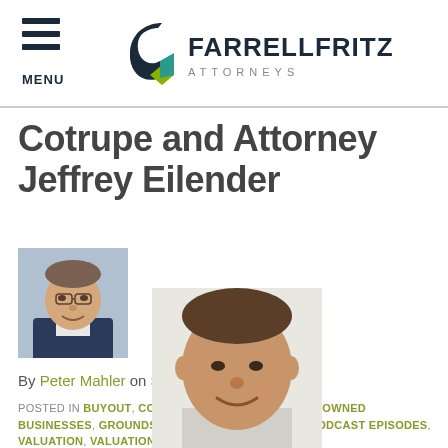MENU — Farrell Fritz Attorneys
Cotrupe and Attorney Jeffrey Eilender
[Figure (photo): Headshot of Peter Mahler, attorney, man in suit with bow tie]
By Peter Mahler on September 11, 2017
POSTED IN BUYOUT, COMPULSORY BUYOUT, FAMILY-OWNED BUSINESSES, GROUNDS FOR DISSOLUTION, LLCS, PODCAST EPISODES, VALUATION, VALUATION DISCOUNTS
[Figure (photo): Headshot of Jeffrey Eilender, smiling man, close-up photo]